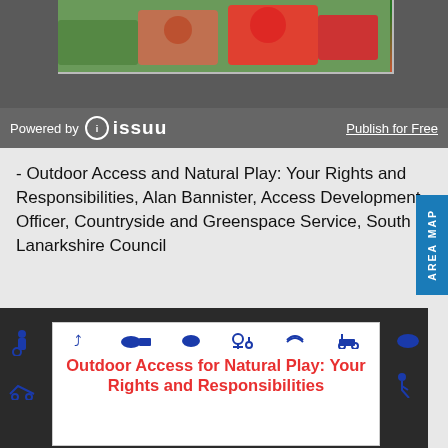[Figure (screenshot): Top partial image of colorful bird/nature illustration on dark grey background]
Powered by issuu  Publish for Free
- Outdoor Access and Natural Play: Your Rights and Responsibilities, Alan Bannister, Access Development Officer, Countryside and Greenspace Service, South Lanarkshire Council
[Figure (screenshot): Cover image for 'Outdoor Access for Natural Play: Your Rights and Responsibilities' booklet with blue icons of bikes, cows, wheelchair, prams and red title text on white background]